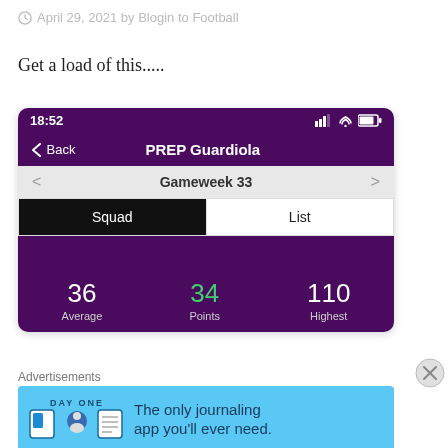April 29, 2021 by Blogin to Football
Get a load of this.....
[Figure (screenshot): Mobile app screenshot showing PREP Guardiola team in an FPL-style app. Status bar shows 18:52. Navigation shows Back and PREP Guardiola title. Gameweek 33 navigation bar. Squad/List toggle with Squad selected. Stats bar showing Average 36, Points 34 (green), Highest 110.]
Advertisements
[Figure (screenshot): DayOne journaling app advertisement banner on light blue background with app icons and text: The only journaling app you'll ever need.]